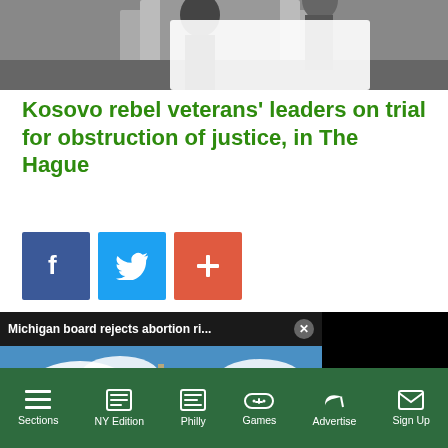[Figure (photo): Top portion of a photo showing people, partially cropped]
Kosovo rebel veterans' leaders on trial for obstruction of justice, in The Hague
[Figure (other): Social sharing buttons: Facebook (blue), Twitter (light blue), and Plus/Add (red-orange)]
[Figure (screenshot): Video overlay with title 'Michigan board rejects abortion ri...' and a muted video of a government building (capitol). Yellow mute button visible.]
ions are
our guidelines
Sections  NY Edition  Philly  Games  Advertise  Sign Up